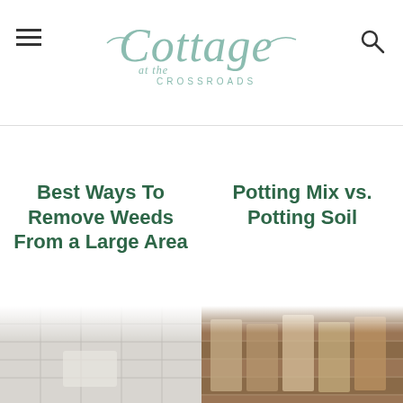[Figure (logo): Cottage at the Crossroads website logo with decorative script font in sage/teal green color]
Best Ways To Remove Weeds From a Large Area
Potting Mix vs. Potting Soil
[Figure (photo): Partial photo of weeds or garden area, bottom left, mostly cropped]
[Figure (photo): Partial photo showing potting soil/mix products, bottom right, mostly cropped]